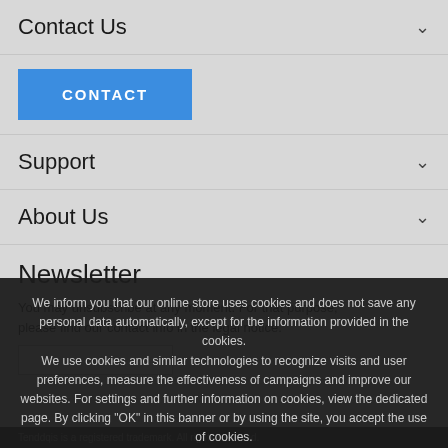Contact Us
[Figure (screenshot): Blue CONTACT button]
Support
About Us
Newsletter
You may unsubscribe at any moment. For that purpose, please find our contact info in the legal notice.
We inform you that our online store uses cookies and does not save any personal data automatically, except for the information provided in the cookies. We use cookies and similar technologies to recognize visits and user preferences, measure the effectiveness of campaigns and improve our websites. For settings and further information on cookies, view the dedicated page. By clicking "OK" in this banner or by using the site, you accept the use of cookies.
Tenddqis is a registered trademark. All rights reserved.